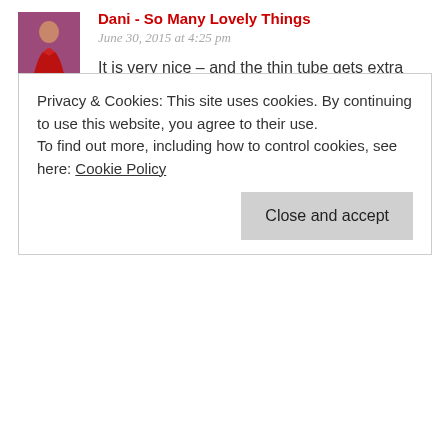Dani - So Many Lovely Things
June 30, 2015 at 4:25 pm
It is very nice – and the thin tube gets extra portability points 🙂
Thanks for your visit and comment.
Dani x
★ Liked by 1 person
Reply
Privacy & Cookies: This site uses cookies. By continuing to use this website, you agree to their use.
To find out more, including how to control cookies, see here: Cookie Policy
Close and accept